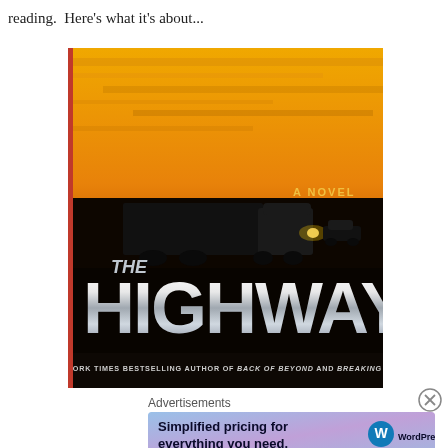reading.  Here's what it's about...
[Figure (photo): Book cover of 'The Highway' - A Novel. Shows a dramatic highway scene at sunset/dusk with an orange sky, a semi-truck and a car on a dark road. Large metallic silver text reads 'THE HIGHWAY'. Bottom text: 'NEW YORK TIMES BESTSELLING AUTHOR OF BACK OF BEYOND AND BREAKING POINT'.]
Advertisements
[Figure (other): WordPress.com advertisement banner with gradient blue/purple background. Text: 'Simplified pricing for everything you need.' with WordPress.com logo.]